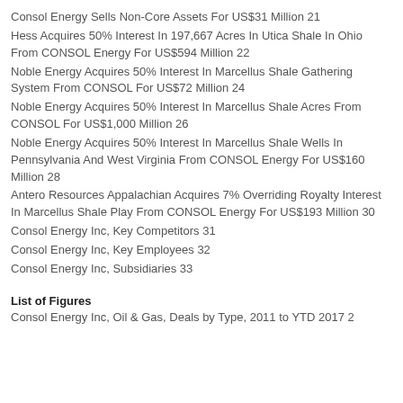Consol Energy Sells Non-Core Assets For US$31 Million 21
Hess Acquires 50% Interest In 197,667 Acres In Utica Shale In Ohio From CONSOL Energy For US$594 Million 22
Noble Energy Acquires 50% Interest In Marcellus Shale Gathering System From CONSOL For US$72 Million 24
Noble Energy Acquires 50% Interest In Marcellus Shale Acres From CONSOL For US$1,000 Million 26
Noble Energy Acquires 50% Interest In Marcellus Shale Wells In Pennsylvania And West Virginia From CONSOL Energy For US$160 Million 28
Antero Resources Appalachian Acquires 7% Overriding Royalty Interest In Marcellus Shale Play From CONSOL Energy For US$193 Million 30
Consol Energy Inc, Key Competitors 31
Consol Energy Inc, Key Employees 32
Consol Energy Inc, Subsidiaries 33
List of Figures
Consol Energy Inc, Oil & Gas, Deals by Type, 2011 to YTD 2017 2